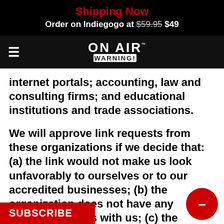Shipping Now
Order on Indiegogo at $59.95 $49
[Figure (logo): ON AIR WARNING! logo in white on black navigation bar with hamburger menu icon]
internet portals; accounting, law and consulting firms; and educational institutions and trade associations.
We will approve link requests from these organizations if we decide that: (a) the link would not make us look unfavorably to ourselves or to our accredited businesses; (b) the organization does not have any negative records with us; (c) the benefit to us from the visibility of the hyperlink compensates the absence of On Air Warning ; and (d) the link is in the context of general resour
SUBSCRIBE